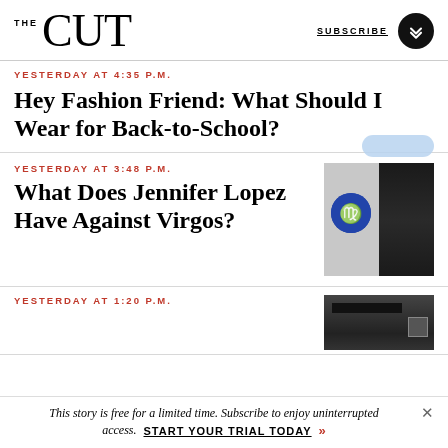THE CUT | SUBSCRIBE
YESTERDAY AT 4:35 P.M.
Hey Fashion Friend: What Should I Wear for Back-to-School?
YESTERDAY AT 3:48 P.M.
What Does Jennifer Lopez Have Against Virgos?
[Figure (photo): Virgo zodiac symbol circle and Jennifer Lopez photo against grey background]
YESTERDAY AT 1:20 P.M.
[Figure (photo): Partial thumbnail of an article, dark background with screen/monitor element]
This story is free for a limited time. Subscribe to enjoy uninterrupted access. START YOUR TRIAL TODAY »